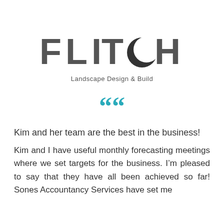[Figure (logo): FLITCH Landscape Design & Build logo. Large dark grey spaced letters spelling FLITCH with a crescent moon replacing the letter C, and tagline 'Landscape Design & Build' below.]
““
Kim and her team are the best in the business!
Kim and I have useful monthly forecasting meetings where we set targets for the business. I’m pleased to say that they have all been achieved so far! Sones Accountancy Services have set me